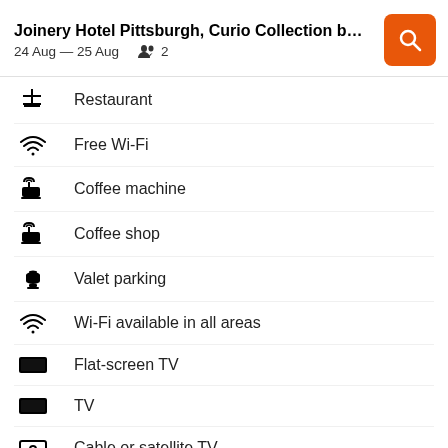Joinery Hotel Pittsburgh, Curio Collection b...
24 Aug — 25 Aug   2
Restaurant
Free Wi-Fi
Coffee machine
Coffee shop
Valet parking
Wi-Fi available in all areas
Flat-screen TV
TV
Cable or satellite TV